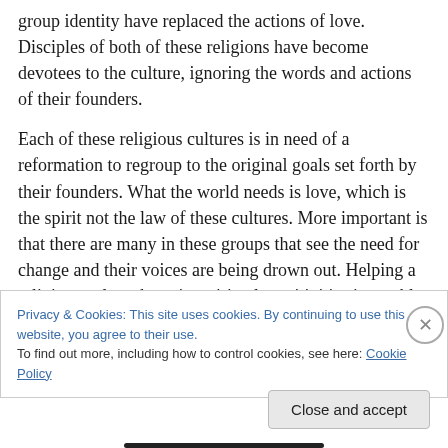group identity have replaced the actions of love. Disciples of both of these religions have become devotees to the culture, ignoring the words and actions of their founders.
Each of these religious cultures is in need of a reformation to regroup to the original goals set forth by their founders. What the world needs is love, which is the spirit not the law of these cultures. More important is that there are many in these groups that see the need for change and their voices are being drown out. Helping a religious culture keep its spiritual sensitivities is a noble task today.
Privacy & Cookies: This site uses cookies. By continuing to use this website, you agree to their use.
To find out more, including how to control cookies, see here: Cookie Policy
Close and accept